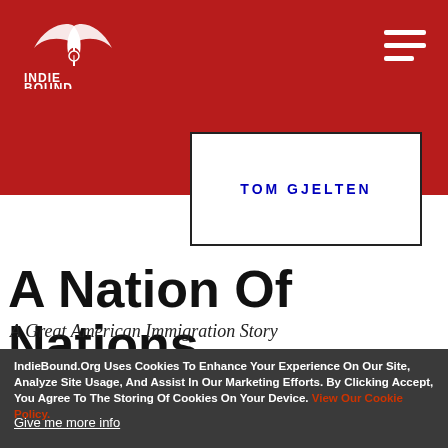IndieBound
[Figure (logo): IndieBound logo — white stylized feather/book graphic with INDIE BOUND text below, on red background]
TOM GJELTEN
A Nation Of Nations
A Great American Immigration Story
IndieBound.Org Uses Cookies To Enhance Your Experience On Our Site, Analyze Site Usage, And Assist In Our Marketing Efforts. By Clicking Accept, You Agree To The Storing Of Cookies On Your Device. View Our Cookie Policy.
Give me more info